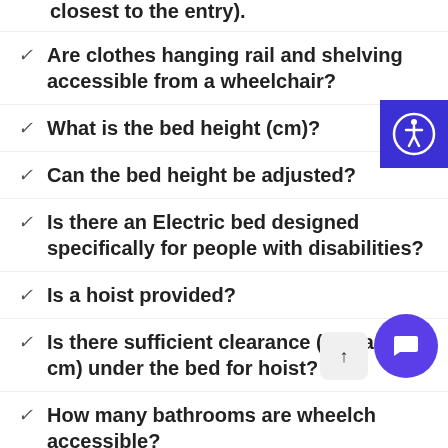closest to the entry).
Are clothes hanging rail and shelving accessible from a wheelchair?
What is the bed height (cm)?
Can the bed height be adjusted?
Is there an Electric bed designed specifically for people with disabilities?
Is a hoist provided?
Is there sufficient clearance (at least 12 cm) under the bed for hoist?
How many bathrooms are wheelchair accessible?